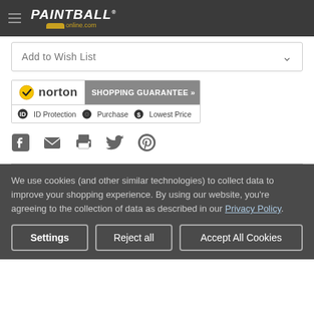PAINTBALL online.com
Add to Wish List
[Figure (logo): Norton Shopping Guarantee badge with ID Protection, Purchase, and Lowest Price icons]
[Figure (infographic): Social sharing icons: Facebook, Email, Print, Twitter, Pinterest]
We use cookies (and other similar technologies) to collect data to improve your shopping experience. By using our website, you're agreeing to the collection of data as described in our Privacy Policy.
Settings | Reject all | Accept All Cookies